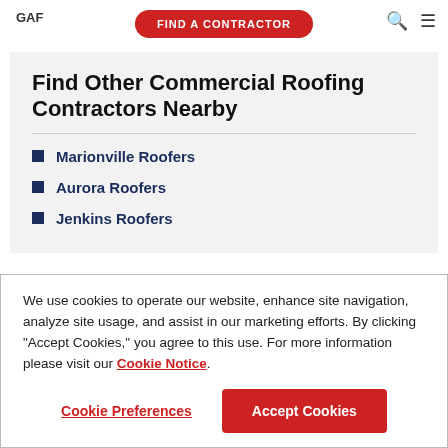GAF | FIND A CONTRACTOR
Find Other Commercial Roofing Contractors Nearby
Marionville Roofers
Aurora Roofers
Jenkins Roofers
We use cookies to operate our website, enhance site navigation, analyze site usage, and assist in our marketing efforts. By clicking "Accept Cookies," you agree to this use. For more information please visit our Cookie Notice.
Cookie Preferences | Accept Cookies